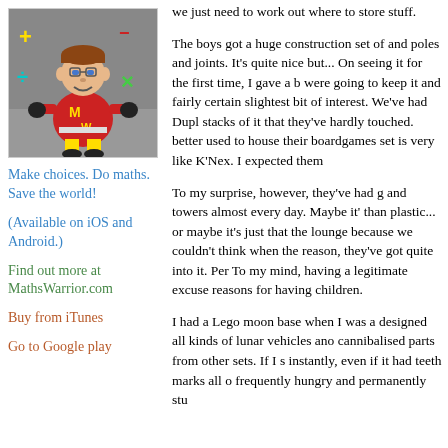[Figure (illustration): Cartoon character of MathsWarrior app - a child in red superhero costume with math symbols around them on a gray background]
Make choices. Do maths. Save the world!
(Available on iOS and Android.)
Find out more at MathsWarrior.com
Buy from iTunes
Go to Google play
we just need to work out where to store... stuff.
The boys got a huge construction set of... and poles and joints. It's quite nice but... On seeing it for the first time, I gave a l... were going to keep it and fairly certain... slightest bit of interest. We've had Dupl... stacks of it that they've hardly touched.... better used to house their boardgames... set is very like K'Nex. I expected them
To my surprise, however, they've had g... and towers almost every day. Maybe it'... than plastic... or maybe it's just that the... lounge because we couldn't think when... the reason, they've got quite into it. Per... To my mind, having a legitimate excuse... reasons for having children.
I had a Lego moon base when I was a... designed all kinds of lunar vehicles ano... cannibalised parts from other sets. If I s... instantly, even if it had teeth marks all o... frequently hungry and permanently stu...